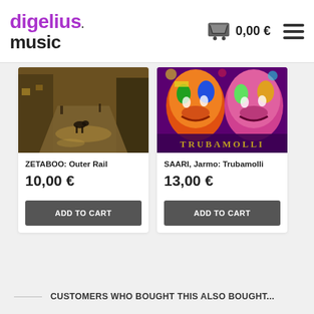digelius music — 0,00 €
[Figure (photo): Album cover for ZETABOO: Outer Rail — a rainy cobblestone street scene with a dog]
ZETABOO: Outer Rail
10,00 €
ADD TO CART
[Figure (photo): Album cover for SAARI, Jarmo: Trubamolli — colorful carnival masks on purple background]
SAARI, Jarmo: Trubamolli
13,00 €
ADD TO CART
CUSTOMERS WHO BOUGHT THIS ALSO BOUGHT...